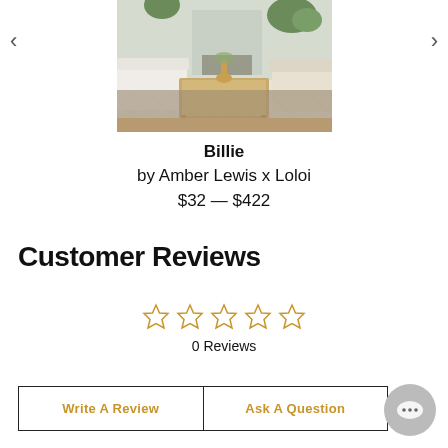[Figure (photo): Living room scene with a large area rug displayed, showing a sofa, wood coffee table, chairs, fireplace, and plants in a bright interior.]
Billie
by Amber Lewis x Loloi
$32 — $422
Customer Reviews
[Figure (infographic): Five empty star rating icons in gold/yellow outline indicating 0 out of 5 stars.]
0 Reviews
Write A Review
Ask A Question